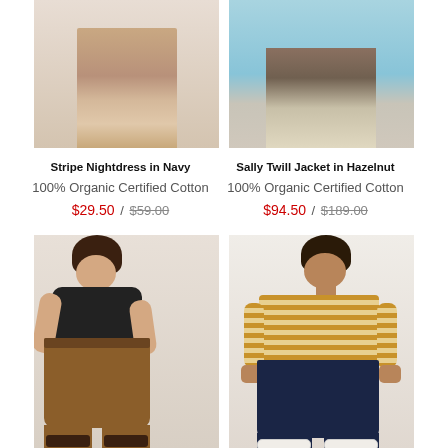[Figure (photo): Product photo of Stripe Nightdress in Navy - cropped view showing lower half/legs of model on beige background]
[Figure (photo): Product photo of Sally Twill Jacket in Hazelnut - cropped view showing lower half/legs of model with sneakers on blue background]
Stripe Nightdress in Navy
100% Organic Certified Cotton
$29.50 / $59.00
Sally Twill Jacket in Hazelnut
100% Organic Certified Cotton
$94.50 / $189.00
[Figure (photo): Full body photo of woman wearing black off-shoulder top with wide-leg brown trousers and brown sandals on grey background]
[Figure (photo): Full body photo of woman wearing horizontal striped mustard/tan top with dark navy wide-leg jeans and white sneakers on light background]